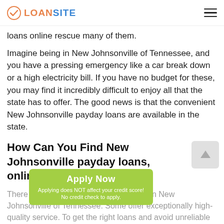LOANSITE
loans online rescue many of them.
Imagine being in New Johnsonville of Tennessee, and you have a pressing emergency like a car break down or a high electricity bill. If you have no budget for these, you may find it incredibly difficult to enjoy all that the state has to offer. The good news is that the convenient New Johnsonville payday loans are available in the state.
How Can You Find New Johnsonville payday loans, online Lenders?
There are plenty of payday loan lenders in New Johnsonville of Tennessee. Some offer exceptionally high-quality service. To get the right loans and avoid unreliable companies, you need to have the tips necessary to identify the most dependable ones. Payday loans in New
[Figure (other): Green Apply Now button with text 'Applying does NOT affect your credit score!' and 'No credit check to apply.']